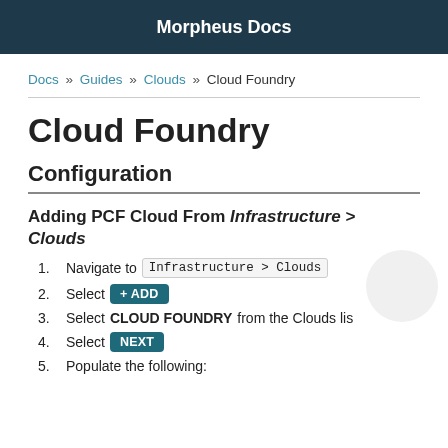Morpheus Docs
Docs » Guides » Clouds » Cloud Foundry
Cloud Foundry
Configuration
Adding PCF Cloud From Infrastructure > Clouds
Navigate to Infrastructure > Clouds
Select + ADD
Select CLOUD FOUNDRY from the Clouds list
Select NEXT
Populate the following: